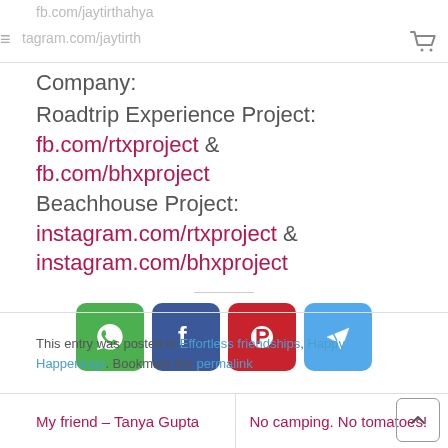fb.com/jaytirthahya  ≡ tagram.com/jaytirth
Company:
Roadtrip Experience Project: fb.com/rtxproject & fb.com/bhxproject
Beachhouse Project: instagram.com/rtxproject & instagram.com/bhxproject
[Figure (infographic): Four social share buttons: WhatsApp (green), Facebook (blue), Pinterest (red), Telegram (light blue)]
This entry was posted in Effortless friendships, Happy Happenings. Bookmark the permalink.
My friend – Tanya Gupta   |   No camping. No tomatoes!